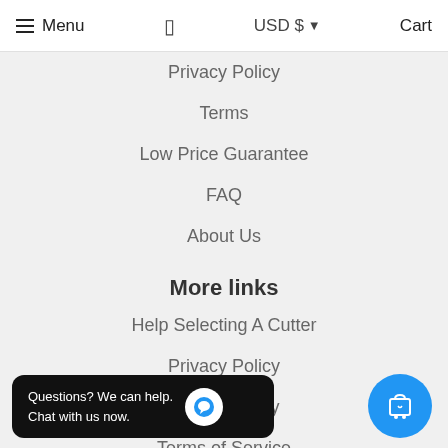Menu   USD $   Cart
Privacy Policy
Terms
Low Price Guarantee
FAQ
About Us
More links
Help Selecting A Cutter
Privacy Policy
Refund Policy
Terms of Service
Get in touch
We can be reached by phone  at (707) 446-1120 M-F  8-7 PST
s.com 24 hours a day 7 da...k.
Newsletter
Questions? We can help. Chat with us now.